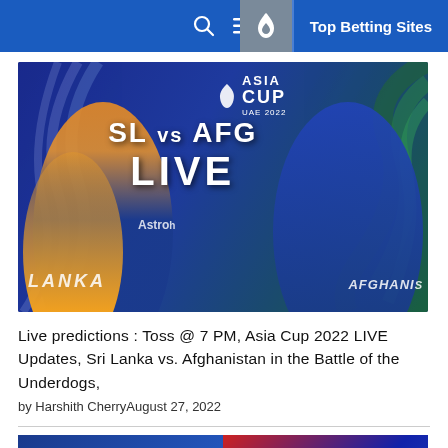Top Betting Sites
[Figure (photo): Asia Cup UAE 2022 promotional image showing SL vs AFG LIVE match with two cricket players]
Live predictions : Toss @ 7 PM, Asia Cup 2022 LIVE Updates, Sri Lanka vs. Afghanistan in the Battle of the Underdogs,
by Harshith CherryAugust 27, 2022
[Figure (photo): Two side-by-side cricket match photos showing Sri Lanka and Afghanistan teams celebrating]